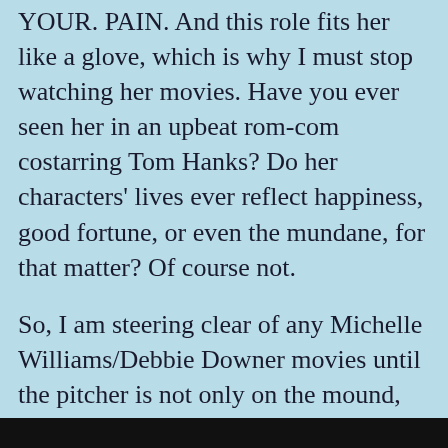YOUR. PAIN. And this role fits her like a glove, which is why I must stop watching her movies. Have you ever seen her in an upbeat rom-com costarring Tom Hanks? Do her characters' lives ever reflect happiness, good fortune, or even the mundane, for that matter? Of course not.
So, I am steering clear of any Michelle Williams/Debbie Downer movies until the pitcher is not only on the mound, but he's released the ball that has connected with my bat that was misplayed in left field that got me on first base, then second, then third, then to home plate, the crowd is cheering, and endorsements are flying my way.
[Figure (photo): Dark/black image strip at the bottom of the page]